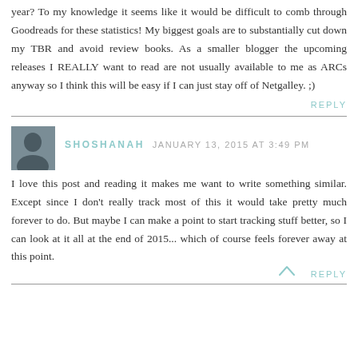year? To my knowledge it seems like it would be difficult to comb through Goodreads for these statistics! My biggest goals are to substantially cut down my TBR and avoid review books. As a smaller blogger the upcoming releases I REALLY want to read are not usually available to me as ARCs anyway so I think this will be easy if I can just stay off of Netgalley. ;)
REPLY
SHOSHANAH JANUARY 13, 2015 AT 3:49 PM
I love this post and reading it makes me want to write something similar. Except since I don't really track most of this it would take pretty much forever to do. But maybe I can make a point to start tracking stuff better, so I can look at it all at the end of 2015... which of course feels forever away at this point.
REPLY